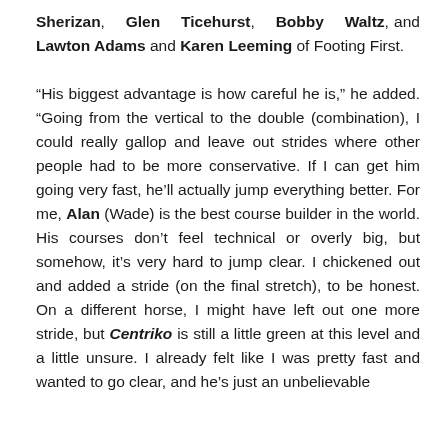Sherizan, Glen Ticehurst, Bobby Waltz, and Lawton Adams and Karen Leeming of Footing First.

“His biggest advantage is how careful he is,” he added. “Going from the vertical to the double (combination), I could really gallop and leave out strides where other people had to be more conservative. If I can get him going very fast, he’ll actually jump everything better. For me, Alan (Wade) is the best course builder in the world. His courses don’t feel technical or overly big, but somehow, it’s very hard to jump clear. I chickened out and added a stride (on the final stretch), to be honest. On a different horse, I might have left out one more stride, but Centriko is still a little green at this level and a little unsure. I already felt like I was pretty fast and wanted to go clear, and he’s just an unbelievable